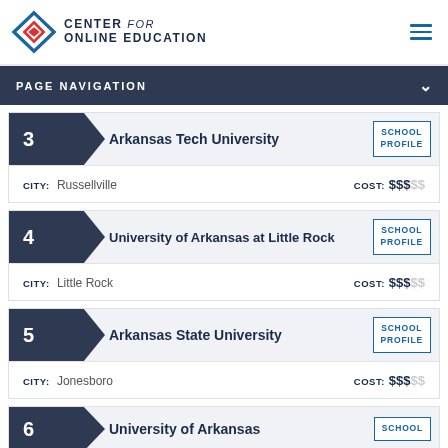CENTER for ONLINE EDUCATION
PAGE NAVIGATION
3 Arkansas Tech University | CITY: Russellville | COST: $$$$$
4 University of Arkansas at Little Rock | CITY: Little Rock | COST: $$$$$
5 Arkansas State University | CITY: Jonesboro | COST: $$$$$
6 University of Arkansas | SCHOOL PROFILE